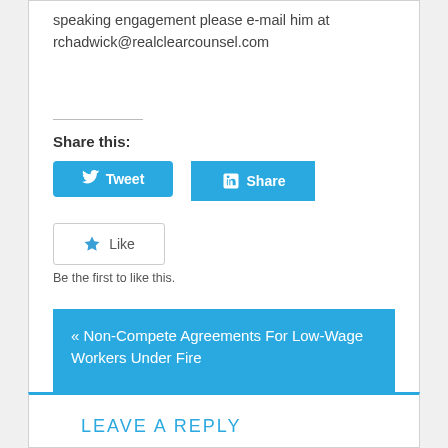speaking engagement please e-mail him at rchadwick@realclearcounsel.com
Share this:
[Figure (other): Tweet button (Twitter/X social share button in blue)]
[Figure (other): LinkedIn Share button in blue]
[Figure (other): Like button with star icon]
Be the first to like this.
« Non-Compete Agreements For Low-Wage Workers Under Fire
Supreme Court To Hear Three LGBTQ Discrimination Cases »
LEAVE A REPLY